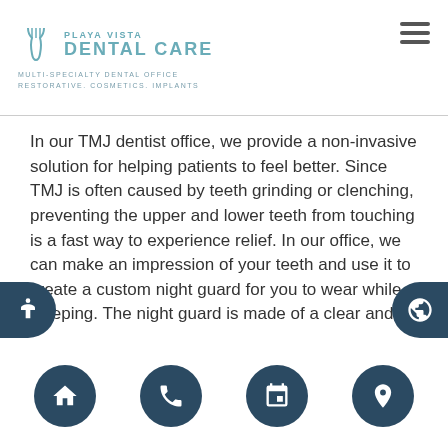[Figure (logo): Playa Vista Dental Care logo with tooth icon, teal text reading PLAYA VISTA DENTAL CARE, and subtitle MULTI-SPECIALTY DENTAL OFFICE RESTORATIVE. COSMETICS. IMPLANTS]
In our TMJ dentist office, we provide a non-invasive solution for helping patients to feel better. Since TMJ is often caused by teeth grinding or clenching, preventing the upper and lower teeth from touching is a fast way to experience relief. In our office, we can make an impression of your teeth and use it to create a custom night guard for you to wear while sleeping. The night guard is made of a clear and comfortable plastic that surrounds your upper and lower teeth, similar to how a full retainer would function. The main difference is that the upper and lower portion attach and by doing so, prevent your teeth from touching and your jaw from clenching